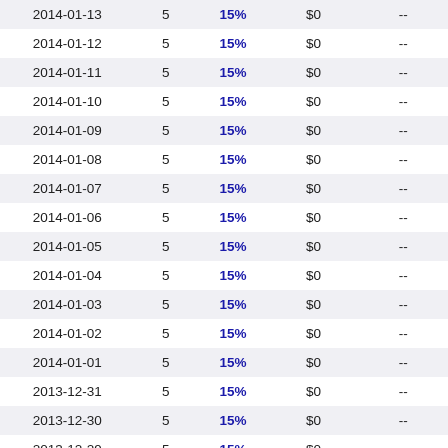| Date | Col2 | Col3 | Col4 | Col5 |
| --- | --- | --- | --- | --- |
| 2014-01-13 | 5 | 15% | $0 | -- |
| 2014-01-12 | 5 | 15% | $0 | -- |
| 2014-01-11 | 5 | 15% | $0 | -- |
| 2014-01-10 | 5 | 15% | $0 | -- |
| 2014-01-09 | 5 | 15% | $0 | -- |
| 2014-01-08 | 5 | 15% | $0 | -- |
| 2014-01-07 | 5 | 15% | $0 | -- |
| 2014-01-06 | 5 | 15% | $0 | -- |
| 2014-01-05 | 5 | 15% | $0 | -- |
| 2014-01-04 | 5 | 15% | $0 | -- |
| 2014-01-03 | 5 | 15% | $0 | -- |
| 2014-01-02 | 5 | 15% | $0 | -- |
| 2014-01-01 | 5 | 15% | $0 | -- |
| 2013-12-31 | 5 | 15% | $0 | -- |
| 2013-12-30 | 5 | 15% | $0 | -- |
| 2013-12-29 | 5 | 15% | $0 | -- |